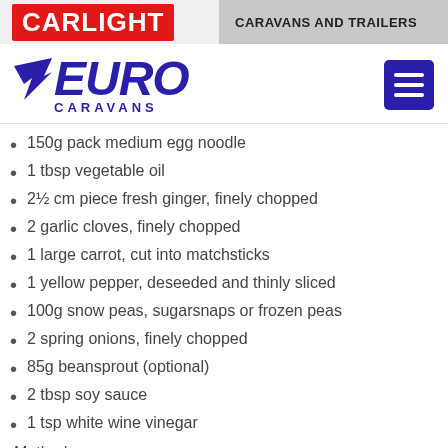CARLIGHT  CARAVANS AND TRAILERS
[Figure (logo): Euro Caravans logo with blue italic EURO text and wing arrows, CARAVANS subtitle, and blue hamburger menu icon]
150g pack medium egg noodle
1 tbsp vegetable oil
2½ cm piece fresh ginger, finely chopped
2 garlic cloves, finely chopped
1 large carrot, cut into matchsticks
1 yellow pepper, deseeded and thinly sliced
100g snow peas, sugarsnaps or frozen peas
2 spring onions, finely chopped
85g beansprout (optional)
2 tbsp soy sauce
1 tsp white wine vinegar
Method: